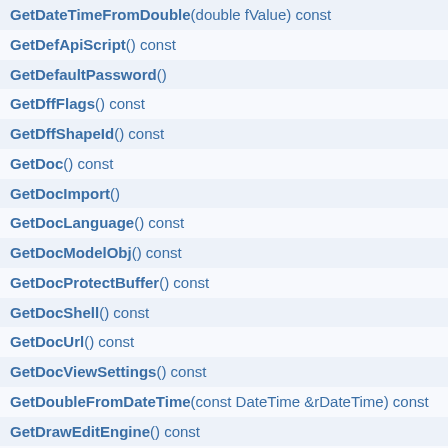GetDateTimeFromDouble(double fValue) const
GetDefApiScript() const
GetDefaultPassword()
GetDffFlags() const
GetDffShapeId() const
GetDoc() const
GetDocImport()
GetDocLanguage() const
GetDocModelObj() const
GetDocProtectBuffer() const
GetDocShell() const
GetDocUrl() const
GetDocViewSettings() const
GetDoubleFromDateTime(const DateTime &rDateTime) const
GetDrawEditEngine() const
GetEditEngine() const
GetExtDocOptions() const
GetFilterManager() const
GetFontBuffer() const
GetFontPropSetHelper() const
GetFormatter() const